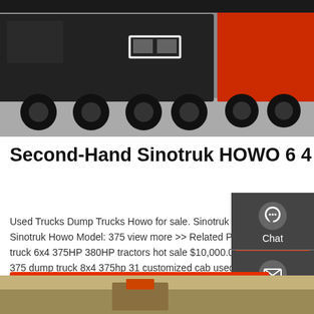[Figure (photo): Several large Sinotruk HOWO dump trucks parked in a lot, dark cab trucks with large wheels, grey/concrete background]
Second-Hand Sinotruk HOWO 6 4 Dump Truck Dump
Used Trucks Dump Trucks Howo for sale. Sinotruk Howo . how howo 375 6 4. Manufacturer: Sinotruk Howo Model: 375 view more >> Related Products Cheap Used dump truck Howo tipper truck 6x4 375HP 380HP tractors hot sale $10,000.00 - $50,000.00 / Unit 1.0 Units Used Howo 375 dump truck 8x4 375hp 31 customized cab used howo 375
[Figure (other): Sidebar with Chat, Email, and Contact icons on dark grey background]
GET A QUOTE
[Figure (photo): Partial view of another truck or construction equipment in a dusty brown field setting]